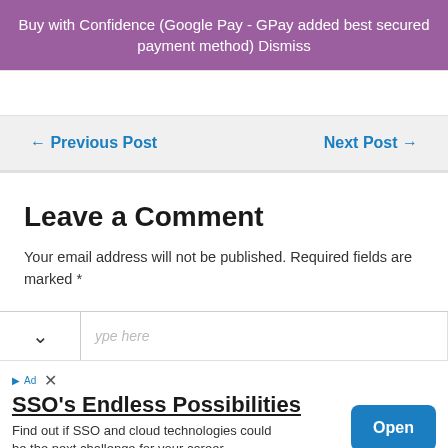Buy with Confidence (Google Pay - GPay added best secured payment method) Dismiss
← Previous Post   Next Post →
Leave a Comment
Your email address will not be published. Required fields are marked *
SSO's Endless Possibilities
Find out if SSO and cloud technologies could be the next challenge for your career. HENNGE Talks!